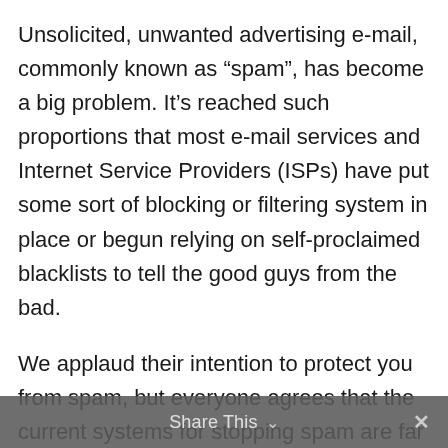Unsolicited, unwanted advertising e-mail, commonly known as “spam”, has become a big problem. It’s reached such proportions that most e-mail services and Internet Service Providers (ISPs) have put some sort of blocking or filtering system in place or begun relying on self-proclaimed blacklists to tell the good guys from the bad.
We applaud their intention to protect you from spam, but everyone agrees that the current systems for stopping spam are far from a perfect solution. They often block email that you’ve requested, but that fits somebody’s idea of what spam looks like. The more responsible anti-spam activists are working hard to cut down on these “false positives”, but in the meantime, you might unexpectedly find you’re not getting your subscription’s content...
Share This ∨  ×